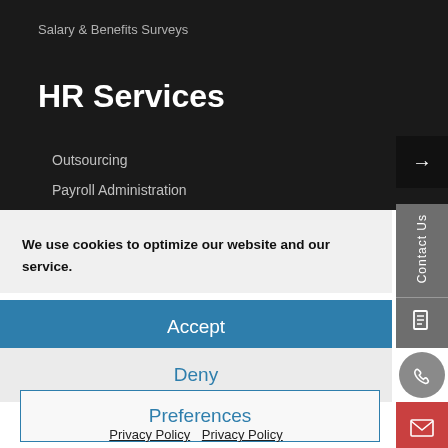Salary & Benefits Surveys
HR Services
Outsourcing
Payroll Administration
We use cookies to optimize our website and our service.
Accept
Deny
Preferences
Privacy Policy  Privacy Policy